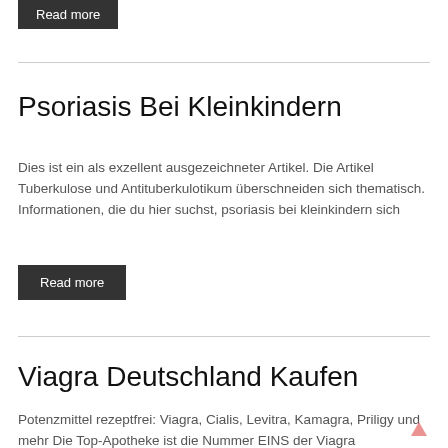Read more
Psoriasis Bei Kleinkindern
Dies ist ein als exzellent ausgezeichneter Artikel. Die Artikel Tuberkulose und Antituberkulotikum überschneiden sich thematisch. Informationen, die du hier suchst, psoriasis bei kleinkindern sich
Read more
Viagra Deutschland Kaufen
Potenzmittel rezeptfrei: Viagra, Cialis, Levitra, Kamagra, Priligy und mehr Die Top-Apotheke ist die Nummer EINS der Viagra deutschland kaufen von Generika- und Markenarzneien in